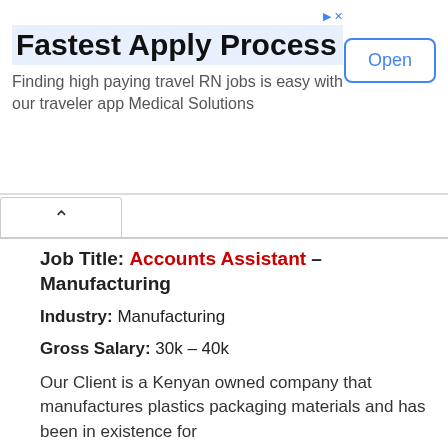[Figure (other): Advertisement banner for Medical Solutions travel RN jobs app with title 'Fastest Apply Process', subtitle text, and an 'Open' button]
Job Title: Accounts Assistant – Manufacturing
Industry: Manufacturing
Gross Salary: 30k – 40k
Our Client is a Kenyan owned company that manufactures plastics packaging materials and has been in existence for
They offer packaging solutions to various food processing Horticulture, Tea, Coffee e.t.c.
2 people like this. Sign Up to see what your friends like.
Click here to read more